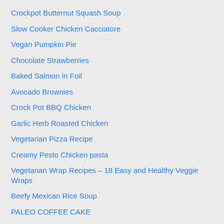Crockpot Butternut Squash Soup
Slow Cooker Chicken Cacciatore
Vegan Pumpkin Pie
Chocolate Strawberries
Baked Salmon in Foil
Avocado Brownies
Crock Pot BBQ Chicken
Garlic Herb Roasted Chicken
Vegetarian Pizza Recipe
Creamy Pesto Chicken pasta
Vegetarian Wrap Recipes – 18 Easy and Healthy Veggie Wraps
Beefy Mexican Rice Soup
PALEO COFFEE CAKE
How to make Skull Shaped Cupcake?
16 KETO 4TH OF JULY RECIPES: Celebrating the 4th of July on